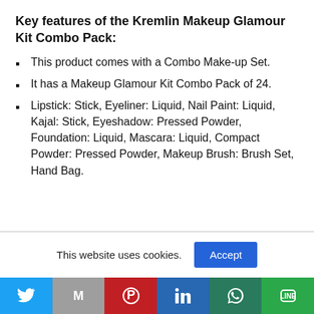Key features of the Kremlin Makeup Glamour Kit Combo Pack:
This product comes with a Combo Make-up Set.
It has a Makeup Glamour Kit Combo Pack of 24.
Lipstick: Stick, Eyeliner: Liquid, Nail Paint: Liquid, Kajal: Stick, Eyeshadow: Pressed Powder, Foundation: Liquid, Mascara: Liquid, Compact Powder: Pressed Powder, Makeup Brush: Brush Set, Hand Bag.
This website uses cookies. Accept